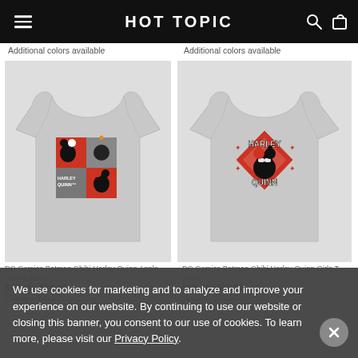HOT TOPIC
Additional colors available
Additional colors available
[Figure (photo): Gray t-shirt with Harley Quinn chibi panel design (red/gray squares with cartoon character and bomb)]
[Figure (photo): Gray t-shirt with Harley Quinn chibi diamond logo design in red and black]
DC Comics Batman Chibi Harley Quinn Apple Girls T-Shirt
$17.43 - $18.83
$23.90 - $25.90
DC Comics Batman Chibi Harley Quinn Girls T-Shirt
$17.43 - $18.83
$23.90 - $25.90
We use cookies for marketing and to analyze and improve your experience on our website. By continuing to use our website or closing this banner, you consent to our use of cookies. To learn more, please visit our Privacy Policy.